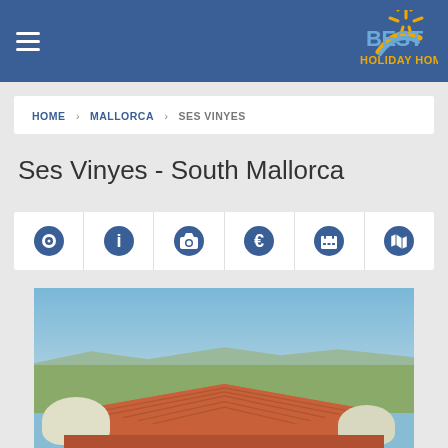Best Holiday Homes – Navigation header with hamburger menu and logo
HOME > MALLORCA > SES VINYES
Ses Vinyes - South Mallorca
[Figure (other): Icon row with 6 icons: eye/overview, info, camera/photos, euro/price, calendar/availability, map]
[Figure (photo): Aerial/elevated view of a Mallorcan finca with terracotta roof tiles, green countryside, mountains in background, blue sky]